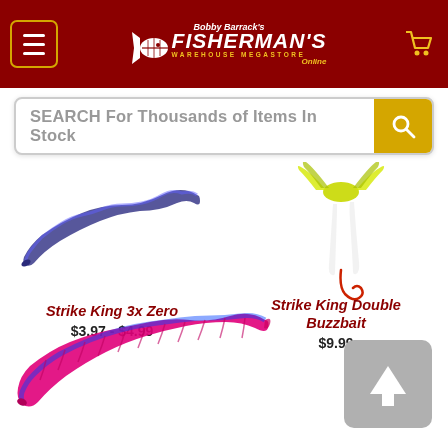[Figure (screenshot): Bobby Barrack's Fisherman's Warehouse Megastore Online logo with white fish icon on dark red header]
SEARCH For Thousands of Items In Stock
[Figure (photo): Blue and purple soft plastic fishing worm lure (Strike King 3x Zero)]
Strike King 3x Zero
$3.97 - $4.99
[Figure (photo): Strike King Double Buzzbait with yellow/white feathers and red hook]
Strike King Double Buzzbait
$9.99
[Figure (photo): Pink and blue soft plastic ribbed fishing worm lure at bottom of page]